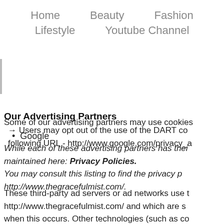Home  Beauty  Fashion  Lifestyle  Youtube Channel
→ Users may opt out of the use of the DART cookie by visiting the Google ad and content network privacy policy at the following URL - http://www.google.com/privacy_ads.html
Our Advertising Partners
Some of our advertising partners may use cookies and web beacons on our site.
Google
While each of these advertising partners has their own Privacy Policy for their site, an updated and hyperlinked resource is maintained here: Privacy Policies.
You may consult this listing to find the privacy policy for each of the advertising partners of http://www.thegracefulmist.com/.
These third-party ad servers or ad networks use technology to the advertisements and links that appear on http://www.thegracefulmist.com/ and which are sent directly to your browser. They automatically receive your IP address when this occurs. Other technologies (such as cookies, JavaScript, or Web Beacons) may also be used by our site's third-party ad networks to measure the effectiveness of their advertising campaigns and/or to personalize the advertising content that you see on the site.